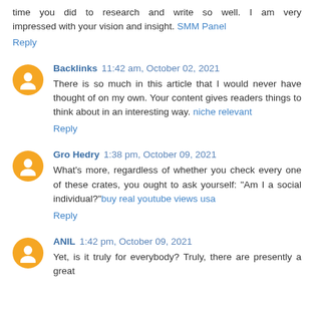time you did to research and write so well. I am very impressed with your vision and insight. SMM Panel
Reply
Backlinks  11:42 am, October 02, 2021
There is so much in this article that I would never have thought of on my own. Your content gives readers things to think about in an interesting way. niche relevant
Reply
Gro Hedry  1:38 pm, October 09, 2021
What's more, regardless of whether you check every one of these crates, you ought to ask yourself: "Am I a social individual?"buy real youtube views usa
Reply
ANIL  1:42 pm, October 09, 2021
Yet, is it truly for everybody? Truly, there are presently a great